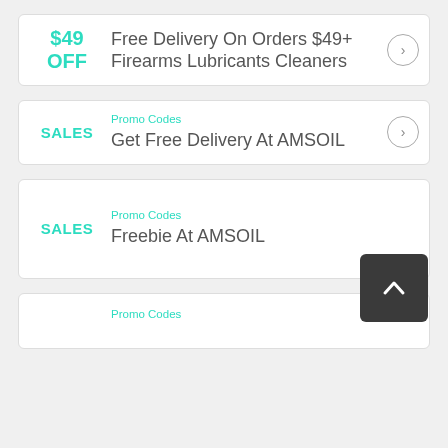$49 OFF — Free Delivery On Orders $49+ Firearms Lubricants Cleaners
Promo Codes — Get Free Delivery At AMSOIL
Promo Codes — Freebie At AMSOIL
Promo Codes